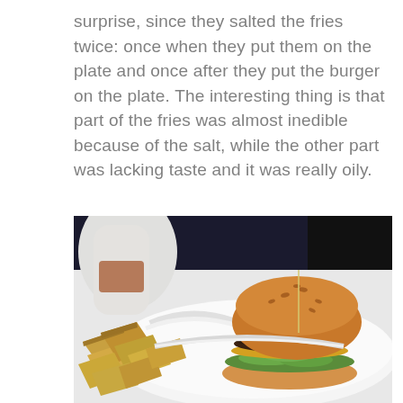surprise, since they salted the fries twice: once when they put them on the plate and once after they put the burger on the plate. The interesting thing is that part of the fries was almost inedible because of the salt, while the other part was lacking taste and it was really oily.
[Figure (photo): A photo of a burger with lettuce and cheese on a white plate/tray, with thick-cut french fries on the left side. A white condiment bottle is visible in the background.]